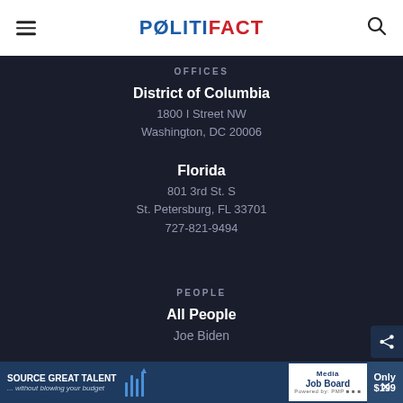POLITIFACT
OFFICES
District of Columbia
1800 I Street NW
Washington, DC 20006
Florida
801 3rd St. S
St. Petersburg, FL 33701
727-821-9494
PEOPLE
All People
Joe Biden
[Figure (infographic): Advertisement banner: SOURCE GREAT TALENT without blowing your budget | Media Job Board | Only $199]